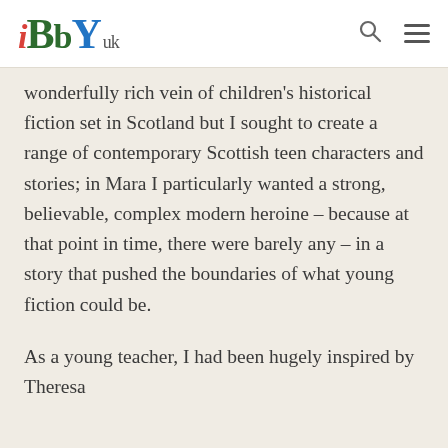iBbY UK
wonderfully rich vein of children's historical fiction set in Scotland but I sought to create a range of contemporary Scottish teen characters and stories; in Mara I particularly wanted a strong, believable, complex modern heroine – because at that point in time, there were barely any – in a story that pushed the boundaries of what young fiction could be.
As a young teacher, I had been hugely inspired by Theresa